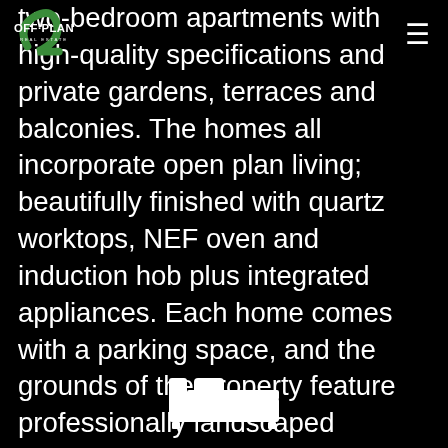OFF-PLAN REAL ESTATE
two-bedroom apartments with high-quality specifications and private gardens, terraces and balconies. The homes all incorporate open plan living; beautifully finished with quartz worktops, NEF oven and induction hob plus integrated appliances. Each home comes with a parking space, and the grounds of the property feature professionally landscaped communal gardens. Bike storage makes it even easier for you to reach the beautiful surrounding areas of Sandbanks and Poole marina.
[Figure (illustration): White bed/accommodation icon showing a bed with pillow]